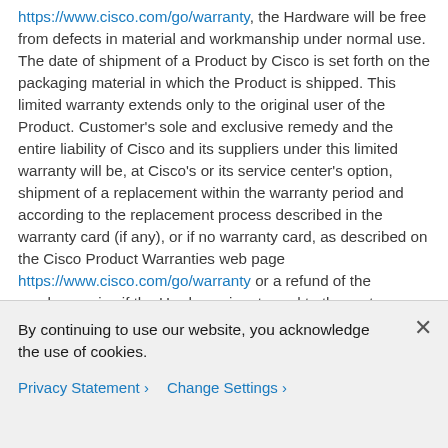https://www.cisco.com/go/warranty, the Hardware will be free from defects in material and workmanship under normal use. The date of shipment of a Product by Cisco is set forth on the packaging material in which the Product is shipped. This limited warranty extends only to the original user of the Product. Customer's sole and exclusive remedy and the entire liability of Cisco and its suppliers under this limited warranty will be, at Cisco's or its service center's option, shipment of a replacement within the warranty period and according to the replacement process described in the warranty card (if any), or if no warranty card, as described on the Cisco Product Warranties web page https://www.cisco.com/go/warranty or a refund of the purchase price if the Hardware is returned to the party supplying it to Customer, freight and insurance prepaid. Cisco replacement parts used in Hardware replacement may be new or equivalent to new. Cisco's obligations hereunder are conditioned upon the return of affected Hardware in accordance with Cisco's or its service center's then-current Return Material Authorization (RMA)
By continuing to use our website, you acknowledge the use of cookies.
Privacy Statement > Change Settings >